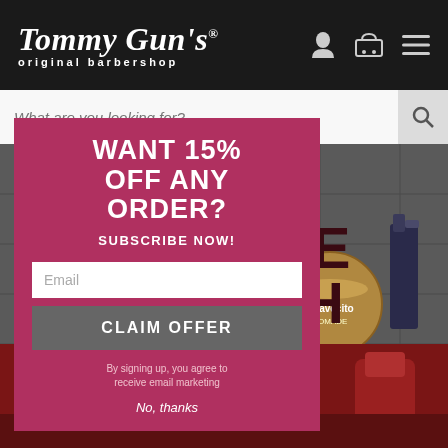Tommy Gun's original barbershop
What are you looking for?
[Figure (screenshot): Background barbershop scene with red barber chairs and grooming products on a dark tiled wall]
BEHIND THE CHAIR WITH CHELSEY
[Figure (infographic): Popup overlay: WANT 15% OFF ANY ORDER? SUBSCRIBE NOW! Email field, CLAIM OFFER button, disclaimer text, No, thanks link]